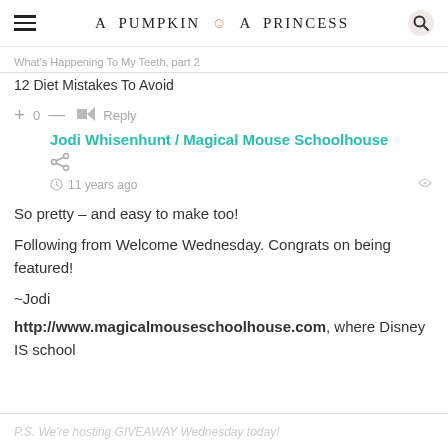A PUMPKIN & A PRINCESS
What's Happening To My Teeth, part 2
12 Diet Mistakes To Avoid
Jodi Whisenhunt / Magical Mouse Schoolhouse
11 years ago
So pretty – and easy to make too!

Following from Welcome Wednesday. Congrats on being featured!

~Jodi
http://www.magicalmouseschoolhouse.com, where Disney IS school
P.S. We're hosting GIVEAWAY Wednesday today!